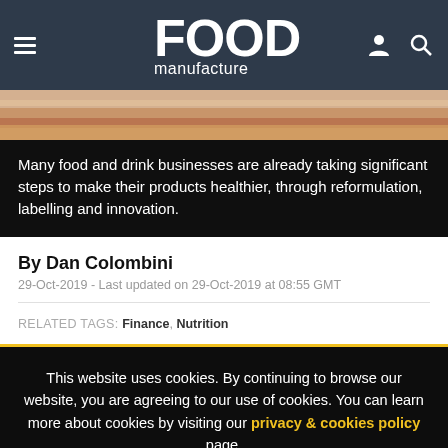FOOD manufacture
[Figure (photo): Close-up photo of food — appears to be a burger or sandwich with ingredients visible]
Many food and drink businesses are already taking significant steps to make their products healthier, through reformulation, labelling and innovation.
By Dan Colombini
29-Oct-2019 - Last updated on 29-Oct-2019 at 08:55 GMT
RELATED TAGS: Finance, Nutrition
This website uses cookies. By continuing to browse our website, you are agreeing to our use of cookies. You can learn more about cookies by visiting our privacy & cookies policy page.
I Agree